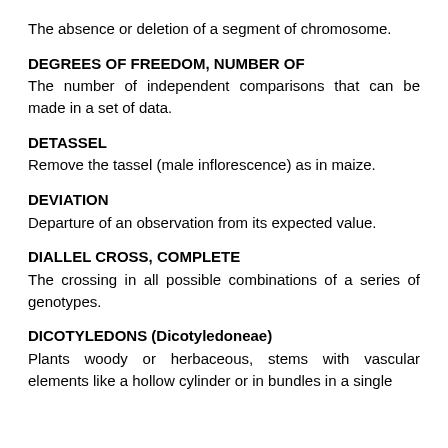The absence or deletion of a segment of chromosome.
DEGREES OF FREEDOM, NUMBER OF
The number of independent comparisons that can be made in a set of data.
DETASSEL
Remove the tassel (male inflorescence) as in maize.
DEVIATION
Departure of an observation from its expected value.
DIALLEL CROSS, COMPLETE
The crossing in all possible combinations of a series of genotypes.
DICOTYLEDONS (Dicotyledoneae)
Plants woody or herbaceous, stems with vascular elements like a hollow cylinder or in bundles in a single